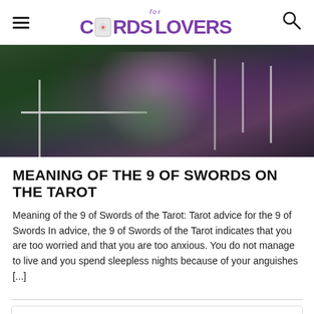for CARDS LOVERS
[Figure (photo): Dark atmospheric photo of a person in a green outfit with swords, tarot-themed image for the 9 of Swords article]
MEANING OF THE 9 OF SWORDS ON THE TAROT
Meaning of the 9 of Swords of the Tarot: Tarot advice for the 9 of Swords In advice, the 9 of Swords of the Tarot indicates that you are too worried and that you are too anxious. You do not manage to live and you spend sleepless nights because of your anguishes [...]